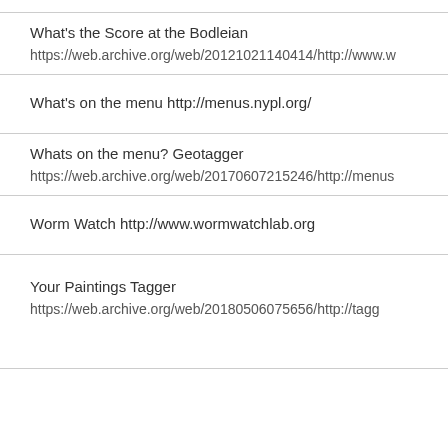What's the Score at the Bodleian
https://web.archive.org/web/20121021140414/http://www.w
What's on the menu http://menus.nypl.org/
Whats on the menu? Geotagger
https://web.archive.org/web/20170607215246/http://menus
Worm Watch http://www.wormwatchlab.org
Your Paintings Tagger
https://web.archive.org/web/20180506075656/http://tagg